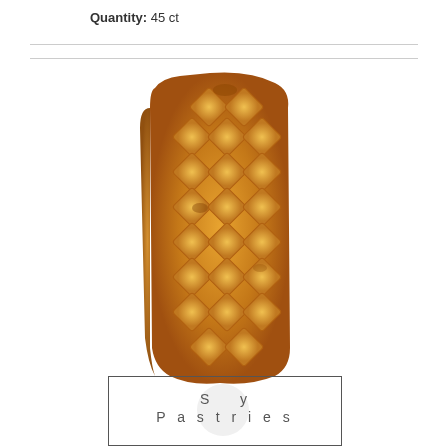Quantity: 45 ct
[Figure (photo): A golden-brown baked pastry loaf with a lattice/diamond pattern on top, showing a pineapple-like scored crust texture.]
[Figure (logo): A rectangular logo box with a circular emblem and text reading 'Savory Pastries']